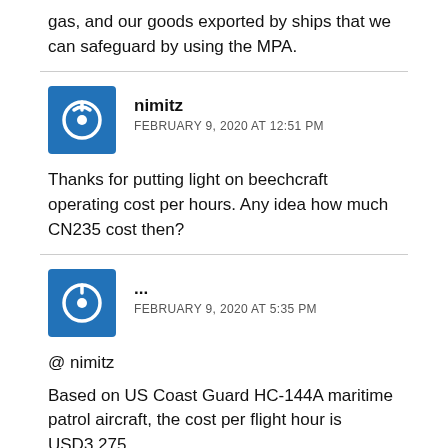gas, and our goods exported by ships that we can safeguard by using the MPA.
nimitz
FEBRUARY 9, 2020 AT 12:51 PM

Thanks for putting light on beechcraft operating cost per hours. Any idea how much CN235 cost then?
...
FEBRUARY 9, 2020 AT 5:35 PM

@ nimitz

Based on US Coast Guard HC-144A maritime patrol aircraft, the cost per flight hour is USD3,275.